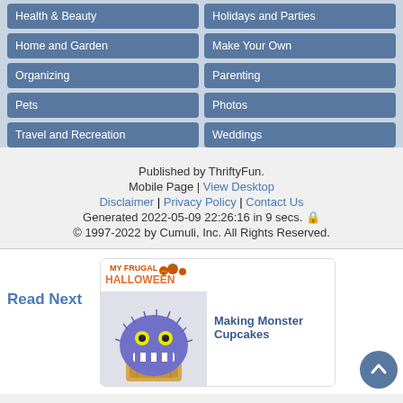Health & Beauty
Holidays and Parties
Home and Garden
Make Your Own
Organizing
Parenting
Pets
Photos
Travel and Recreation
Weddings
Published by ThriftyFun.
Mobile Page | View Desktop
Disclaimer | Privacy Policy | Contact Us
Generated 2022-05-09 22:26:16 in 9 secs.
© 1997-2022 by Cumuli, Inc. All Rights Reserved.
Read Next
[Figure (photo): Monster cupcake decorated to look like a purple fuzzy monster with yellow eyes and white teeth, with My Frugal Halloween logo above it]
Making Monster Cupcakes